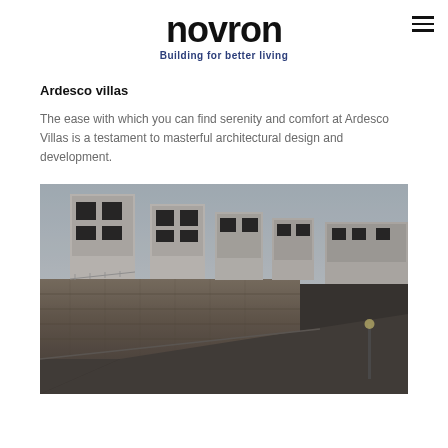novron — Building for better living
Ardesco villas
The ease with which you can find serenity and comfort at Ardesco Villas is a testament to masterful architectural design and development.
[Figure (photo): Exterior photograph of Ardesco Villas showing a row of modern white cubic villas with large windows, set on a hillside with a stone retaining wall along a winding road, photographed at dusk.]